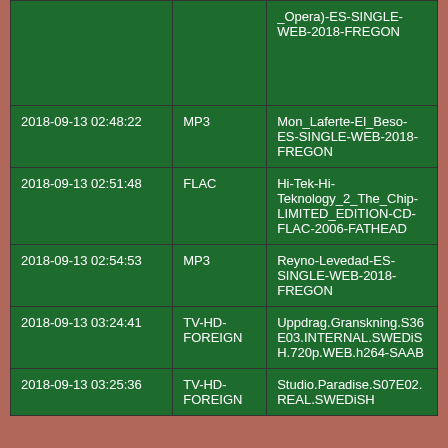|  |  | _Opera)-ES-SINGLE-WEB-2018-FREGON |
| 2018-09-13 02:48:22 | MP3 | Mon_Laferte-El_Beso-ES-SINGLE-WEB-2018-FREGON |
| 2018-09-13 02:51:48 | FLAC | Hi-Tek-Hi-Teknology_2_The_Chip-LIMITED_EDITION-CD-FLAC-2006-FATHEAD |
| 2018-09-13 02:54:53 | MP3 | Reyno-Levedad-ES-SINGLE-WEB-2018-FREGON |
| 2018-09-13 03:24:41 | TV-HD-FOREIGN | Uppdrag.Granskning.S36E03.INTERNAL.SWEDiSH.720p.WEB.h264-SAAB |
| 2018-09-13 03:25:36 | TV-HD-FOREIGN | Studio.Paradise.S07E02.REAL.SWEDiSH |